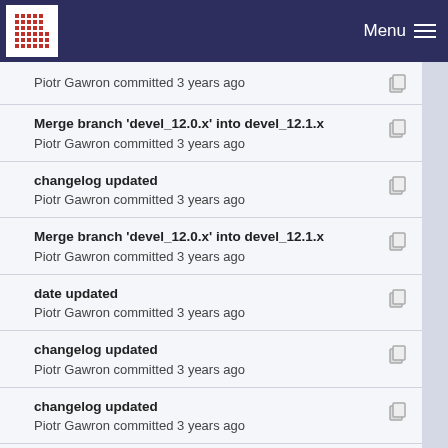Menu
Piotr Gawron committed 3 years ago
Merge branch 'devel_12.0.x' into devel_12.1.x
Piotr Gawron committed 3 years ago
changelog updated
Piotr Gawron committed 3 years ago
Merge branch 'devel_12.0.x' into devel_12.1.x
Piotr Gawron committed 3 years ago
date updated
Piotr Gawron committed 3 years ago
changelog updated
Piotr Gawron committed 3 years ago
changelog updated
Piotr Gawron committed 3 years ago